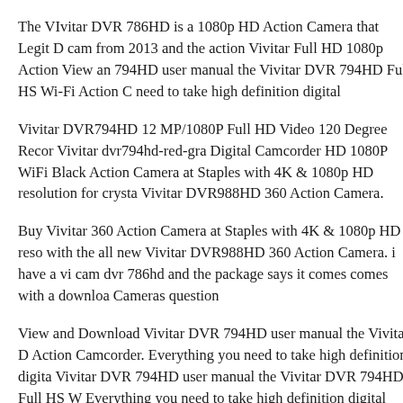The VIvitar DVR 786HD is a 1080p HD Action Camera that Legit cam from 2013 and the action Vivitar Full HD 1080p Action View an 794HD user manual the Vivitar DVR 794HD Full HS Wi-Fi Action C need to take high definition digital
Vivitar DVR794HD 12 MP/1080P Full HD Video 120 Degree Recor Vivitar dvr794hd-red-gra Digital Camcorder HD 1080P WiFi Black Action Camera at Staples with 4K & 1080p HD resolution for crysta Vivitar DVR988HD 360 Action Camera.
Buy Vivitar 360 Action Camera at Staples with 4K & 1080p HD reso with the all new Vivitar DVR988HD 360 Action Camera. i have a vi cam dvr 786hd and the package says it comes comes with a downloa Cameras question
View and Download Vivitar DVR 794HD user manual the Vivitar D Action Camcorder. Everything you need to take high definition digita Vivitar DVR 794HD user manual the Vivitar DVR 794HD Full HS W Everything you need to take high definition digital